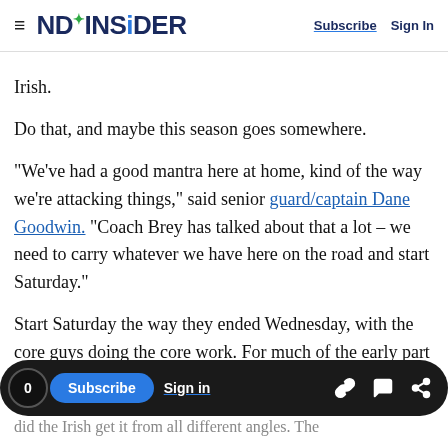NDINSiDER  Subscribe  Sign In
Irish.
Do that, and maybe this season goes somewhere.
“We’ve had a good mantra here at home, kind of the way we’re attacking things,” said senior guard/captain Dane Goodwin. “Coach Brey has talked about that a lot – we need to carry whatever we have here on the road and start Saturday.”
Start Saturday the way they ended Wednesday, with the core guys doing the core work. For much of the early part of the season, it had been one or
0  Subscribe  Sign in